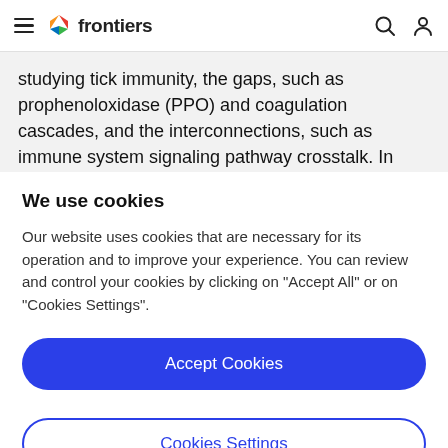frontiers
studying tick immunity, the gaps, such as prophenoloxidase (PPO) and coagulation cascades, and the interconnections, such as immune system signaling pathway crosstalk. In addition, the role of tick microbiota in vector competence is also discussed.
We use cookies
Our website uses cookies that are necessary for its operation and to improve your experience. You can review and control your cookies by clicking on "Accept All" or on "Cookies Settings".
Accept Cookies
Cookies Settings